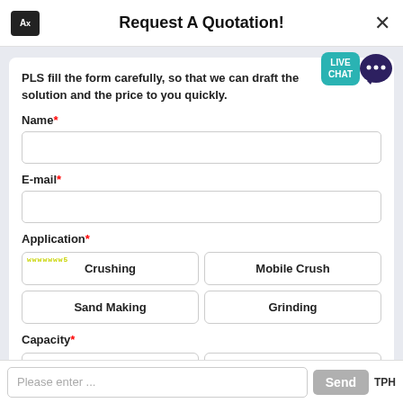Request A Quotation!
PLS fill the form carefully, so that we can draft the solution and the price to you quickly.
Name*
E-mail*
Application*
Crushing
Mobile Crush
Sand Making
Grinding
Capacity*
>50 TPH
>30 TPH